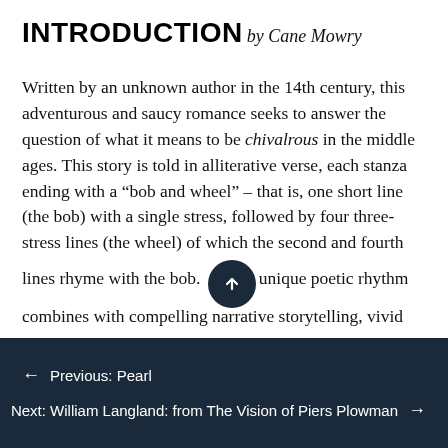INTRODUCTION
by Cane Mowry
Written by an unknown author in the 14th century, this adventurous and saucy romance seeks to answer the question of what it means to be chivalrous in the middle ages. This story is told in alliterative verse, each stanza ending with a “bob and wheel” – that is, one short line (the bob) with a single stress, followed by four three-stress lines (the wheel) of which the second and fourth lines rhyme with the bob. [scroll button] unique poetic rhythm combines with compelling narrative storytelling, vivid
← Previous: Pearl
Next: William Langland: from The Vision of Piers Plowman →